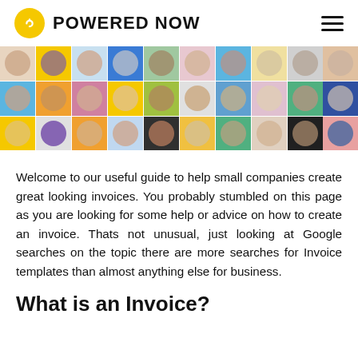POWERED NOW
[Figure (photo): Grid of colorful portrait photos of diverse people on colored backgrounds arranged in 3 rows]
Welcome to our useful guide to help small companies create great looking invoices. You probably stumbled on this page as you are looking for some help or advice on how to create an invoice. Thats not unusual, just looking at Google searches on the topic there are more searches for Invoice templates than almost anything else for business.
What is an Invoice?